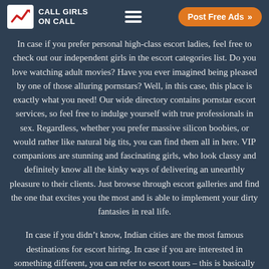CALL GIRLS ON CALL
In case if you prefer personal high-class escort ladies, feel free to check out our independent girls in the escort categories list. Do you love watching adult movies? Have you ever imagined being pleased by one of those alluring pornstars? Well, in this case, this place is exactly what you need! Our wide directory contains pornstar escort services, so feel free to indulge yourself with true professionals in sex. Regardless, whether you prefer massive silicon boobies, or would rather like natural big tits, you can find them all in here. VIP companions are stunning and fascinating girls, who look classy and definitely know all the kinky ways of delivering an unearthly pleasure to their clients. Just browse through escort galleries and find the one that excites you the most and is able to implement your dirty fantasies in real life.
In case if you didn’t know, Indian cities are the most famous destinations for escort hiring. In case if you are interested in something different, you can refer to escort tours – this is basically when ladies